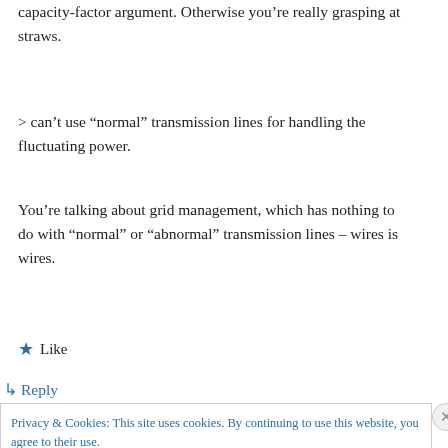capacity-factor argument. Otherwise you’re really grasping at straws.
> can’t use “normal” transmission lines for handling the fluctuating power.
You’re talking about grid management, which has nothing to do with “normal” or “abnormal” transmission lines – wires is wires.
★ Like
↵ Reply
Privacy & Cookies: This site uses cookies. By continuing to use this website, you agree to their use.
To find out more, including how to control cookies, see here: Cookie Policy
Close and accept